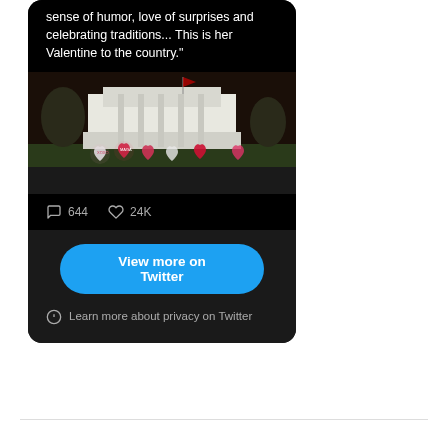[Figure (screenshot): Embedded Twitter/X card showing a tweet with text about sense of humor, love of surprises and celebrating traditions, Valentine to the country, with an image of the White House at night with heart decorations on the lawn, showing 644 comments and 24K likes, a 'View more on Twitter' button, and a privacy note.]
Learn more about privacy on Twitter